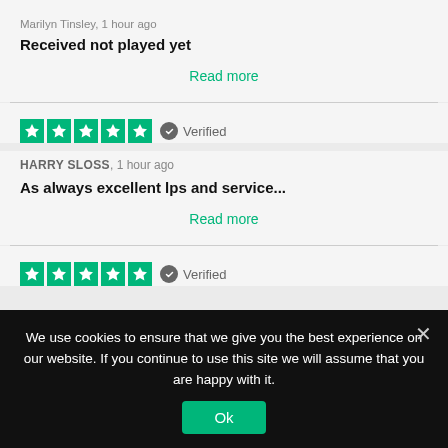Marilyn Tinsley, 1 hour ago
Received not played yet
Read more
[Figure (other): 5-star Trustpilot rating with Verified badge]
HARRY SLOSS, 1 hour ago
As always excellent lps and service...
Read more
[Figure (other): 5-star Trustpilot rating with Verified badge]
We use cookies to ensure that we give you the best experience on our website. If you continue to use this site we will assume that you are happy with it.
Ok